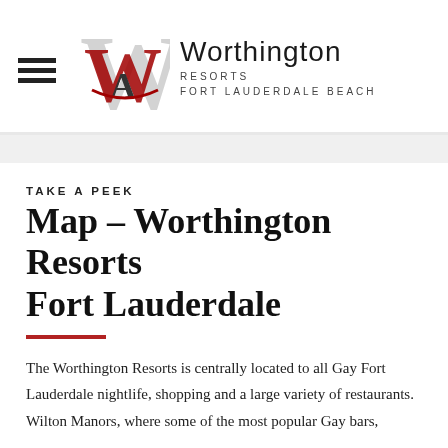[Figure (logo): Worthington Resorts Fort Lauderdale Beach logo with stylized W monogram in gray and red, hamburger menu icon on the left]
TAKE A PEEK
Map – Worthington Resorts Fort Lauderdale
The Worthington Resorts is centrally located to all Gay Fort Lauderdale nightlife, shopping and a large variety of restaurants. Wilton Manors, where some of the most popular Gay bars,